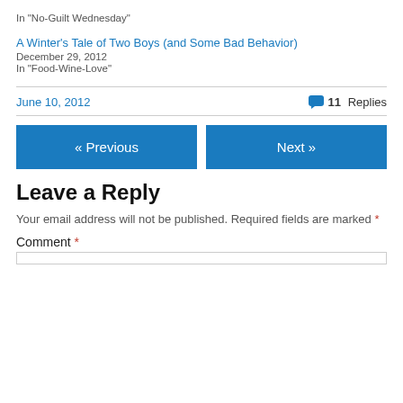In "No-Guilt Wednesday"
A Winter's Tale of Two Boys (and Some Bad Behavior)
December 29, 2012
In "Food-Wine-Love"
June 10, 2012    11 Replies
« Previous
Next »
Leave a Reply
Your email address will not be published. Required fields are marked *
Comment *